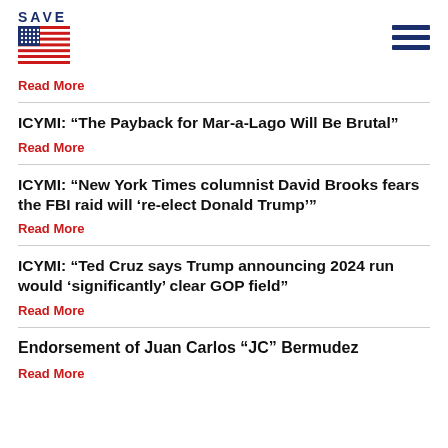SAVE
Read More
ICYMI: “The Payback for Mar-a-Lago Will Be Brutal”
Read More
ICYMI: “New York Times columnist David Brooks fears the FBI raid will ‘re-elect Donald Trump’”
Read More
ICYMI: “Ted Cruz says Trump announcing 2024 run would ‘significantly’ clear GOP field”
Read More
Endorsement of Juan Carlos “JC” Bermudez
Read More